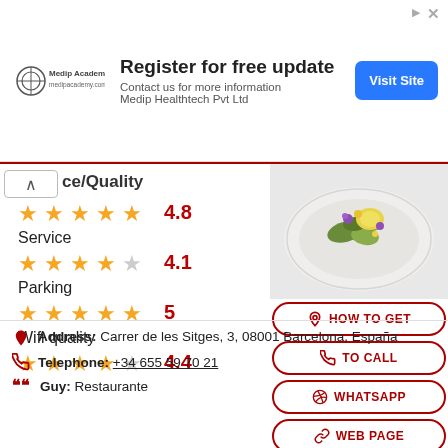[Figure (screenshot): Advertisement banner for Medip Academy / Medip Healthtech Pvt Ltd with 'Register for free update' text and 'Visit Site' button]
ce/Quality
★★★★★ 4.8
Service
★★★★☆ 4.1
Parking
★★★★★ 5
Wifi quality
★★★★☆ 4.4
[Figure (photo): Photo of a gourmet salad dish with colorful edible flowers in a glass bowl]
HOW TO GET
TO CALL
WHATSAPP
WEB PAGE
Address: Carrer de les Sitges, 3, 08001 Barcelona, España
Telephone: +34 655 59 70 21
Guy: Restaurante